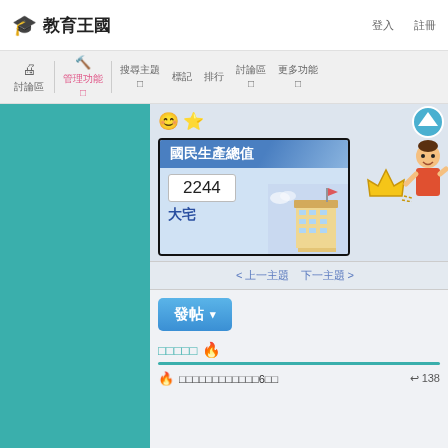🎓 教育王國
□ □□□  |  🔨 □□□□□  |  □□□  □  □□  |  □□□□  □□□□  □
[Figure (screenshot): GNP card showing 國民生產總值 with value 2244 and label 大宅, with building illustration]
< □□□□□  □□□□ >
發帖 ▾
□□□□□ 🔥
□□□□□□□□□□□□6□□  ↩ 138